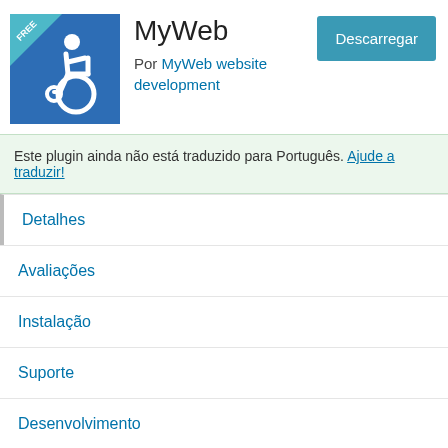[Figure (logo): Blue accessibility icon with wheelchair symbol and 'FREE' banner in top left corner]
MyWeb
Por MyWEB website development
Descarregar
Este plugin ainda não está traduzido para Português. Ajude a traduzir!
Detalhes
Avaliações
Instalação
Suporte
Desenvolvimento
Descrição
If you are worried about the user-friendly nature of